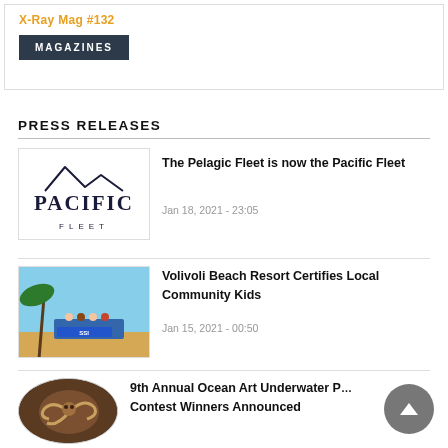[Figure (screenshot): X-Ray Mag #132 magazine banner with MAGAZINES button]
PRESS RELEASES
[Figure (logo): Pacific Fleet logo - mountain outline above text PACIFIC FLEET]
The Pelagic Fleet is now the Pacific Fleet
Jan 18, 2021 - 23:05
[Figure (photo): Group photo of people on a beach holding an SSI banner - Volivoli Beach Resort]
Volivoli Beach Resort Certifies Local Community Kids
Jan 15, 2021 - 00:50
[Figure (photo): Circular underwater art photo showing an octopus/sea creature]
9th Annual Ocean Art Underwater Photo Contest Winners Announced